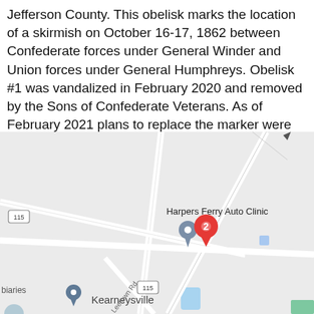Jefferson County. This obelisk marks the location of a skirmish on October 16-17, 1862 between Confederate forces under General Winder and Union forces under General Humphreys. Obelisk #1 was vandalized in February 2020 and removed by the Sons of Confederate Veterans. As of February 2021 plans to replace the marker were unclear.
[Figure (map): Google Maps screenshot showing area near Kearneysville, WV with route 115, Harpers Ferry Auto Clinic label, a red pin marker labeled '2', a grey location marker, and Leetown Rd label. The map shows road intersections near Kearneysville.]